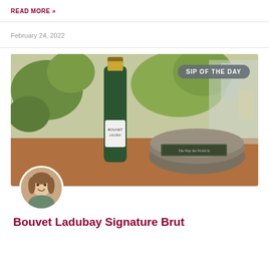READ MORE »
February 24, 2022
[Figure (photo): Photo of a green champagne bottle (Bouvet Ladubay) next to a wheel of aged cheese and books on a wooden table, with green plants in the background. A badge reads 'SIP OF THE DAY' in the top right.]
[Figure (photo): Circular avatar photo of a smiling woman with long brown hair.]
Bouvet Ladubay Signature Brut